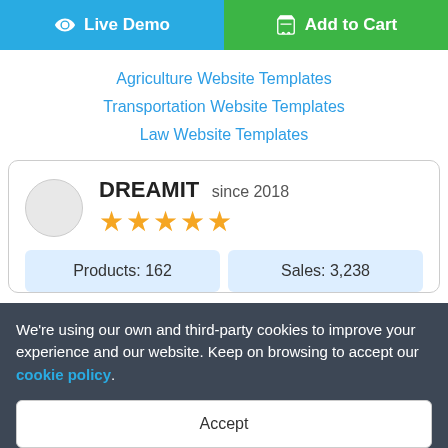[Figure (screenshot): Two buttons side by side: blue 'Live Demo' button with eye icon on the left, green 'Add to Cart' button with cart icon on the right]
Agriculture Website Templates
Transportation Website Templates
Law Website Templates
DREAMIT since 2018 ★★★★★
Products: 162   Sales: 3,238
We're using our own and third-party cookies to improve your experience and our website. Keep on browsing to accept our cookie policy.
Accept